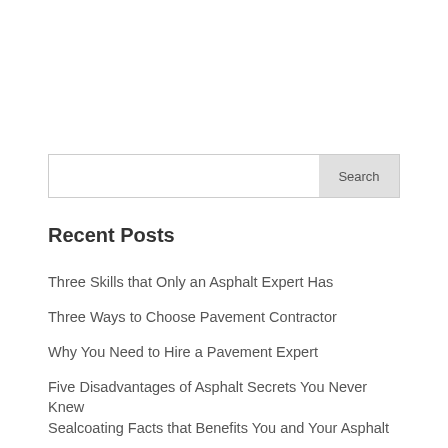Recent Posts
Three Skills that Only an Asphalt Expert Has
Three Ways to Choose Pavement Contractor
Why You Need to Hire a Pavement Expert
Five Disadvantages of Asphalt Secrets You Never Knew
Sealcoating Facts that Benefits You and Your Asphalt